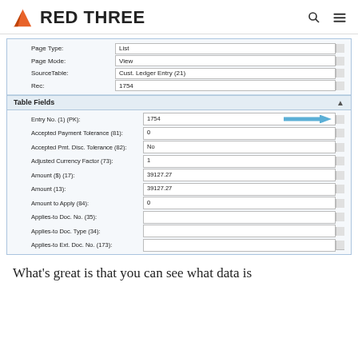RED THREE
[Figure (screenshot): A software debug/inspection panel showing page properties and table fields for a customer ledger entry. Fields include Page Type: List, Page Mode: View, SourceTable: Cust. Ledger Entry (21), Rec: 1754. Table Fields section shows Entry No. (1) (PK): 1754 (with blue arrow pointing to it), Accepted Payment Tolerance (81): 0, Accepted Pmt. Disc. Tolerance (82): No, Adjusted Currency Factor (73): 1, Amount ($) (17): 39127.27, Amount (13): 39127.27, Amount to Apply (84): 0, Applies-to Doc. No. (35): [blank], Applies-to Doc. Type (34): [blank], Applies-to Ext. Doc. No. (173): [blank]]
What's great is that you can see what data is